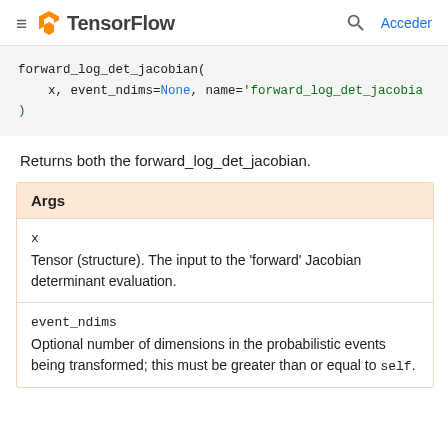TensorFlow — Acceder
forward_log_det_jacobian(
    x, event_ndims=None, name='forward_log_det_jacobian'
)
Returns both the forward_log_det_jacobian.
| Args |
| --- |
| x | Tensor (structure). The input to the 'forward' Jacobian determinant evaluation. |
| event_ndims | Optional number of dimensions in the probabilistic events being transformed; this must be greater than or equal to self. |